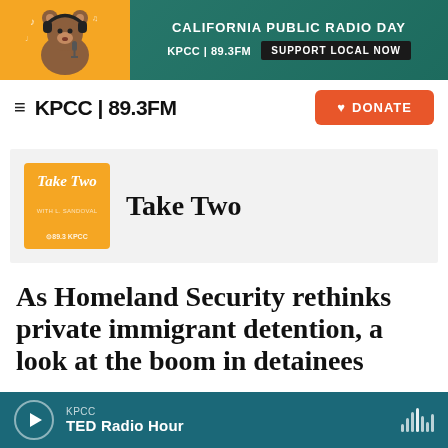[Figure (illustration): KPCC 89.3FM California Public Radio Day banner ad with an illustrated bear wearing headphones, orange background on left, teal background on right with text 'CALIFORNIA PUBLIC RADIO DAY', 'KPCC 89.3FM', and 'SUPPORT LOCAL NOW' button]
KPCC 89.3FM — DONATE
[Figure (logo): Take Two podcast logo — orange square with white italic text 'Take Two' and 'KPCC' branding]
Take Two
As Homeland Security rethinks private immigrant detention, a look at the boom in detainees
KPCC — TED Radio Hour (player bar)